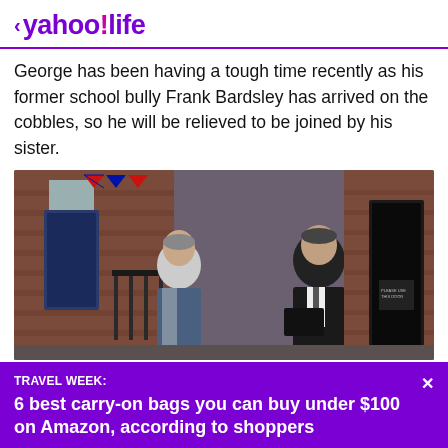< yahoo!life
George has been having a tough time recently as his former school bully Frank Bardsley has arrived on the cobbles, so he will be relieved to be joined by his sister.
[Figure (photo): Two men facing each other outside a brick building on a cobblestone street; one in a casual hoodie, one in a dark business suit holding a folder.]
TRAVEL WEEK: 6 best carry-on bags you can buy under $100 on Amazon, according to shoppers
View comments